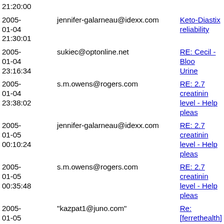| Date | From | Subject |
| --- | --- | --- |
| 2005-01-04 21:30:01 | jennifer-galarneau@idexx.com | Keto-Diastix reliability |
| 2005-01-04 23:16:34 | sukiec@optonline.net | RE: Cecil - Blood Urine |
| 2005-01-04 23:38:02 | s.m.owens@rogers.com | RE: 2.7 creatinin level - Help pleas |
| 2005-01-05 00:10:24 | jennifer-galarneau@idexx.com | RE: 2.7 creatinin level - Help pleas |
| 2005-01-05 00:35:48 | s.m.owens@rogers.com | RE: 2.7 creatinin level - Help pleas |
| 2005-01-05 00:48:34 | "kazpat1@juno.com" | Re: [ferrethealth] Keto-Diastix reliability |
| 2005-01-05 00:58:08 | jennifer-galarneau@idexx.com | RE: 2.7 creatinin level - Help pleas |
| 2005-01-05 01:17:50 | Pam Sessoms | Re: [ferrethealth] Keto-Diastix reliability |
| 2005-01-05 ... |  | Re: [ferrethealth] |